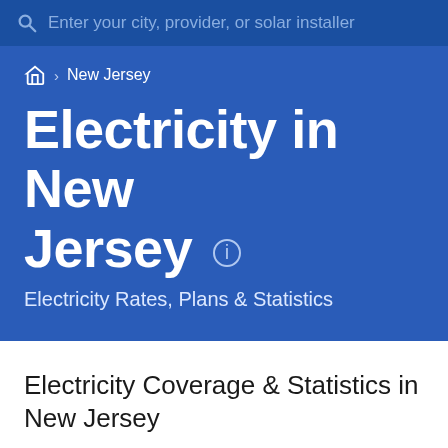Enter your city, provider, or solar installer
Home > New Jersey
Electricity in New Jersey
Electricity Rates, Plans & Statistics
Electricity Coverage & Statistics in New Jersey
Population See Rank 9,288,994